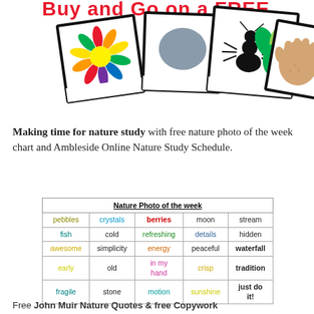[Figure (illustration): Colorful illustrated header with nature-themed polaroid-style cards showing a colorful flower/paint splash, a gray ink blot, an ant, green leaves, and a hand print. Red and yellow decorative title text visible at top.]
Making time for nature study with free nature photo of the week chart and Ambleside Online Nature Study Schedule.
| Nature Photo of the week (colspan 5) |
| --- |
| pebbles | crystals | berries | moon | stream |
| fish | cold | refreshing | details | hidden |
| awesome | simplicity | energy | peaceful | waterfall |
| early | old | in my hand | crisp | tradition |
| fragile | stone | motion | sunshine | just do it! |
Free John Muir Nature Quotes & free Copywork